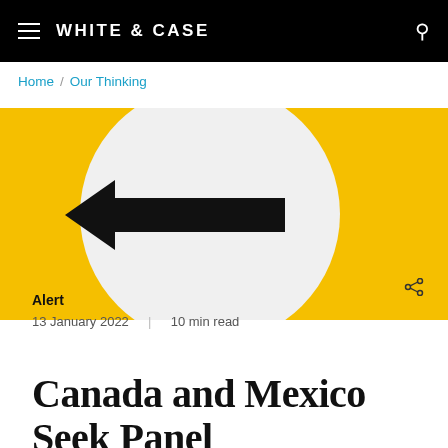WHITE & CASE
Home / Our Thinking
[Figure (photo): Yellow background with a large white circle containing a black left-pointing arrow sign]
Alert
13 January 2022  |  10 min read
Canada and Mexico Seek Panel